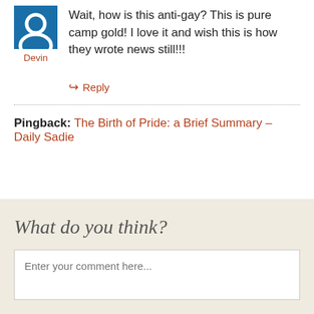Wait, how is this anti-gay? This is pure camp gold! I love it and wish this is how they wrote news still!!!
Devin
↳ Reply
Pingback: The Birth of Pride: a Brief Summary – Daily Sadie
What do you think?
Enter your comment here...